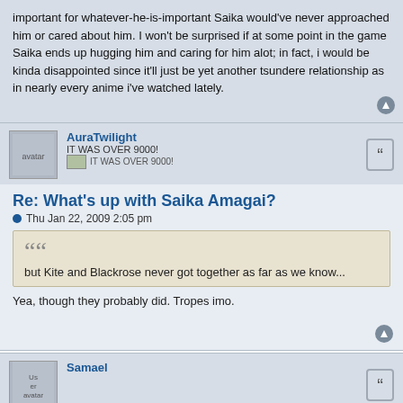important for whatever-he-is-important Saika would've never approached him or cared about him. I won't be surprised if at some point in the game Saika ends up hugging him and caring for him alot; in fact, i would be kinda disappointed since it'll just be yet another tsundere relationship as in nearly every anime i've watched lately.
AuraTwilight
IT WAS OVER 9000!
IT WAS OVER 9000!
Re: What's up with Saika Amagai?
Thu Jan 22, 2009 2:05 pm
but Kite and Blackrose never got together as far as we know...
Yea, though they probably did. Tropes imo.
Samael
Re: What's up with Saika Amagai?
Mon Apr 20, 2009 7:30 pm
What's up with the first sentence about Blackrose, also it's...